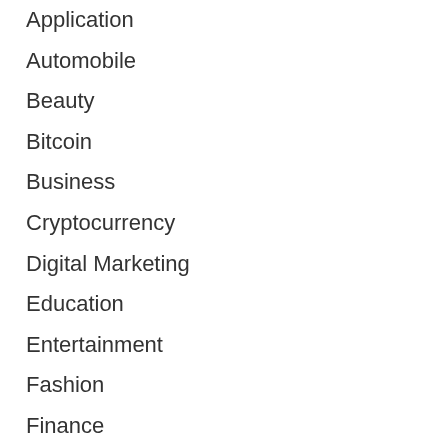Application
Automobile
Beauty
Bitcoin
Business
Cryptocurrency
Digital Marketing
Education
Entertainment
Fashion
Finance
Games
General
Health